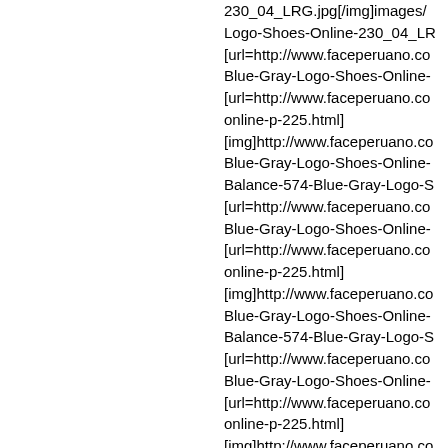230_04_LRG.jpg[/img]images/Logo-Shoes-Online-230_04_LR [url=http://www.faceperuano.co Blue-Gray-Logo-Shoes-Online- [url=http://www.faceperuano.co online-p-225.html] [img]http://www.faceperuano.co Blue-Gray-Logo-Shoes-Online- Balance-574-Blue-Gray-Logo-S [url=http://www.faceperuano.co Blue-Gray-Logo-Shoes-Online- [url=http://www.faceperuano.co online-p-225.html] [img]http://www.faceperuano.co Blue-Gray-Logo-Shoes-Online- Balance-574-Blue-Gray-Logo-S [url=http://www.faceperuano.co Blue-Gray-Logo-Shoes-Online- [url=http://www.faceperuano.co online-p-225.html] [img]http://www.faceperuano.co Blue-Gray-Logo-Shoes-Online- Balance-574-Blue-Gray-Logo-S